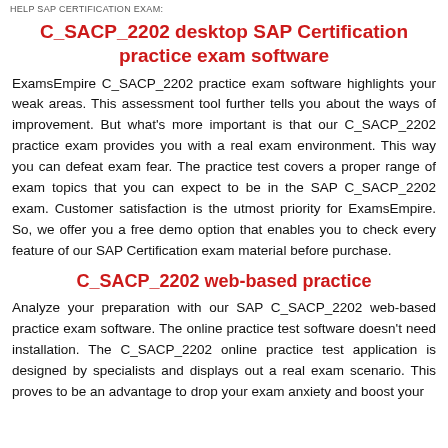HELP SAP CERTIFICATION EXAM:
C_SACP_2202 desktop SAP Certification practice exam software
ExamsEmpire C_SACP_2202 practice exam software highlights your weak areas. This assessment tool further tells you about the ways of improvement. But what's more important is that our C_SACP_2202 practice exam provides you with a real exam environment. This way you can defeat exam fear. The practice test covers a proper range of exam topics that you can expect to be in the SAP C_SACP_2202 exam. Customer satisfaction is the utmost priority for ExamsEmpire. So, we offer you a free demo option that enables you to check every feature of our SAP Certification exam material before purchase.
C_SACP_2202 web-based practice
Analyze your preparation with our SAP C_SACP_2202 web-based practice exam software. The online practice test software doesn't need installation. The C_SACP_2202 online practice test application is designed by specialists and displays out a real exam scenario. This proves to be an advantage to drop your exam anxiety and boost your